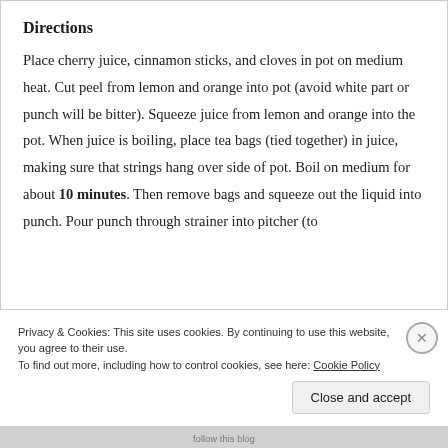Directions
Place cherry juice, cinnamon sticks, and cloves in pot on medium heat. Cut peel from lemon and orange into pot (avoid white part or punch will be bitter). Squeeze juice from lemon and orange into the pot. When juice is boiling, place tea bags (tied together) in juice, making sure that strings hang over side of pot. Boil on medium for about 10 minutes. Then remove bags and squeeze out the liquid into punch. Pour punch through strainer into pitcher (to
Privacy & Cookies: This site uses cookies. By continuing to use this website, you agree to their use.
To find out more, including how to control cookies, see here: Cookie Policy
Close and accept